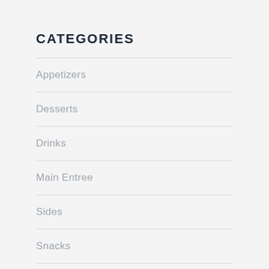CATEGORIES
Appetizers
Desserts
Drinks
Main Entree
Sides
Snacks